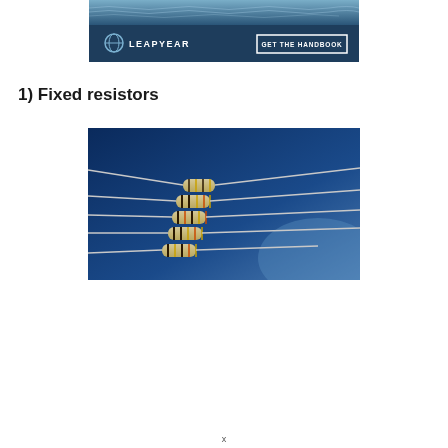[Figure (infographic): LEAPYEAR banner advertisement with navy/teal background, LEAPYEAR logo and text on left, GET THE HANDBOOK button on right]
1) Fixed resistors
[Figure (photo): Photo of five fixed resistors fanned out against a blue gradient background, showing their colored band markings and metal leads]
x